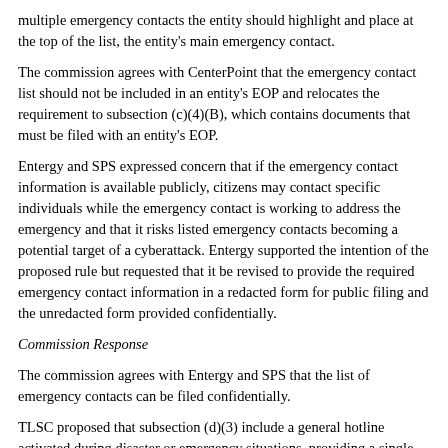multiple emergency contacts the entity should highlight and place at the top of the list, the entity's main emergency contact.
The commission agrees with CenterPoint that the emergency contact list should not be included in an entity's EOP and relocates the requirement to subsection (c)(4)(B), which contains documents that must be filed with an entity's EOP.
Entergy and SPS expressed concern that if the emergency contact information is available publicly, citizens may contact specific individuals while the emergency contact is working to address the emergency and that it risks listed emergency contacts becoming a potential target of a cyberattack. Entergy supported the intention of the proposed rule but requested that it be revised to provide the required emergency contact information in a redacted form for public filing and the unredacted form provided confidentially.
Commission Response
The commission agrees with Entergy and SPS that the list of emergency contacts can be filed confidentially.
TLSC proposed that subsection (d)(3) include a general hotline activated during disaster or emergency situations, providing a single point of contact during emergencies for individuals who are medically dependent on electricity.